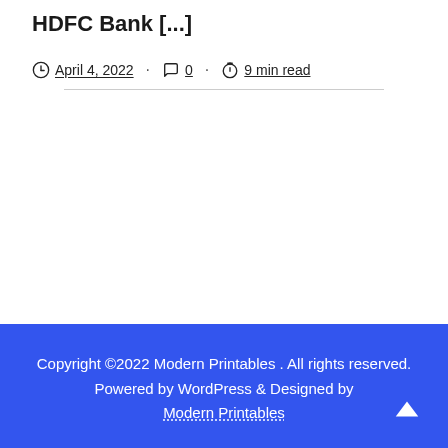HDFC Bank [...]
April 4, 2022 · 0 · 9 min read
Copyright ©2022 Modern Printables . All rights reserved. Powered by WordPress & Designed by Modern Printables